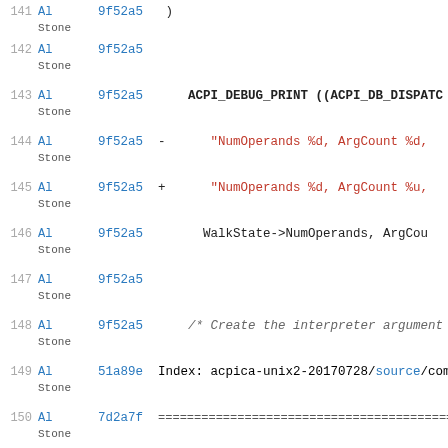141 Al Stone 9f52a5  )
142 Al Stone 9f52a5
143 Al Stone 9f52a5  ACPI_DEBUG_PRINT ((ACPI_DB_DISPATC
144 Al Stone 9f52a5 -   "NumOperands %d, ArgCount %d,
145 Al Stone 9f52a5 +   "NumOperands %d, ArgCount %u,
146 Al Stone 9f52a5   WalkState->NumOperands, ArgCou
147 Al Stone 9f52a5
148 Al Stone 9f52a5   /* Create the interpreter argument
149 Al Stone 51a89e  Index: acpica-unix2-20170728/source/com
150 Al Stone 7d2a7f  ============================================
151 Al Stone 51a89e  --- acpica-unix2-20170728.orig/source/c
Al